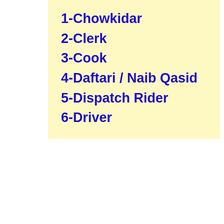1-Chowkidar
2-Clerk
3-Cook
4-Daftari / Naib Qasid
5-Dispatch Rider
6-Driver
The Last Date to Apply Online is 25-June-2022.
FOR MORE DETAIL PLEASE CLICK APPLY ONLINE BUTTON
[Figure (logo): Search Pk Jobs logo — circular badge with sunburst design and text 'Search Pk Jobs']